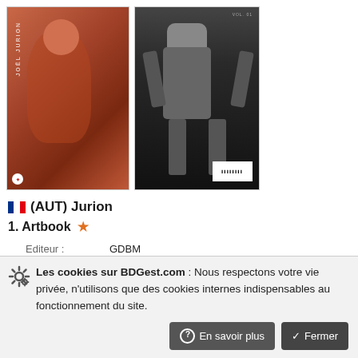[Figure (photo): Two book covers side by side: left is a front cover of an artbook by Joël Jurion showing a stylized female figure in warm tones; right is the back cover showing a robot/mech figure in dark tones.]
🇫🇷 (AUT) Jurion
1. Artbook ★
| Editeur : | GDBM |
| DL : | 12/2015 |
| Etat : | Bon |
| Achat le : | 29/08/2017 |
[Figure (photo): Two more book covers side by side: left is a front cover showing two female figures in colorful illustrated style (green and orange tones); right is the back cover showing a bull/cattle illustration in sepia/brown tones.]
🇫🇷 (AUT) Jurion
Les cookies sur BDGest.com : Nous respectons votre vie privée, n'utilisons que des cookies internes indispensables au fonctionnement du site.